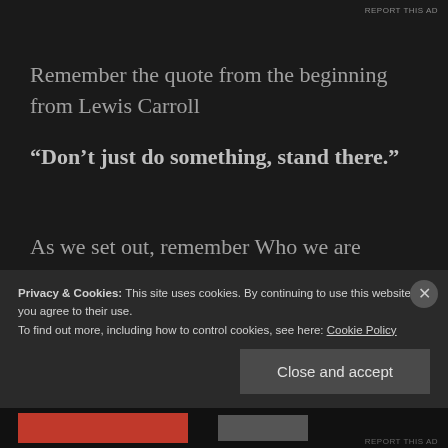REPORT THIS AD
Remember the quote from the beginning from Lewis Carroll
“Don’t just do something, stand there.”
As we set out, remember Who we are walking with…
Privacy & Cookies: This site uses cookies. By continuing to use this website, you agree to their use.
To find out more, including how to control cookies, see here: Cookie Policy
Close and accept